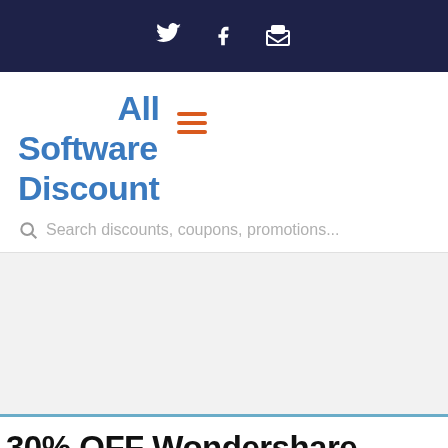Twitter Facebook Email (social icons)
All Software Discount
Search discounts, coupons, promotions...
[Figure (other): Gray advertisement/content area placeholder]
30% OFF Wondershare Video